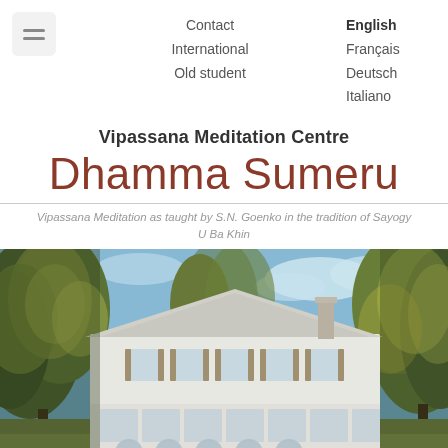Contact | International | Old student | English | Français | Deutsch | Italiano
Vipassana Meditation Centre
Dhamma Sumeru
Vipassana Meditation as taught by S.N. Goenko in the tradition of Sayogy U Ba Khin
[Figure (photo): Exterior photograph of the Dhamma Sumeru Vipassana Meditation Centre building, a large white multi-story European-style house surrounded by tall autumn trees with green and yellow foliage, under a blue sky.]